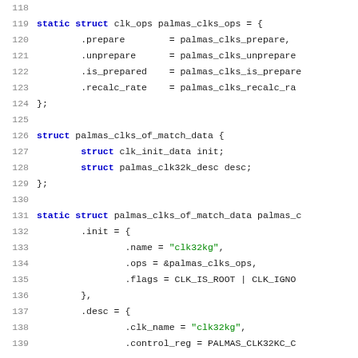[Figure (screenshot): Source code listing in C showing struct clk_ops and struct palmas_clks_of_match_data definitions with static initializers, lines 118-139]